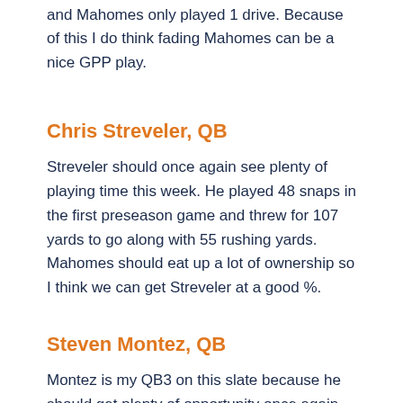and Mahomes only played 1 drive. Because of this I do think fading Mahomes can be a nice GPP play.
Chris Streveler, QB
Streveler should once again see plenty of playing time this week. He played 48 snaps in the first preseason game and threw for 107 yards to go along with 55 rushing yards. Mahomes should eat up a lot of ownership so I think we can get Streveler at a good %.
Steven Montez, QB
Montez is my QB3 on this slate because he should get plenty of opportunity once again for Washington. He played about 50% of the snaps in week 1 and managed 108 passing yards, 1 TD, 1 INT and 14 rushing yards. I like him again this week and expect similar playing